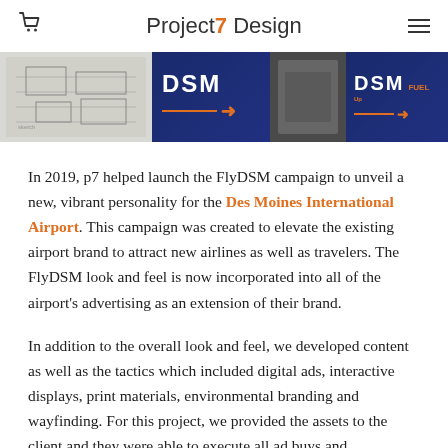Project7 Design
[Figure (photo): Image strip showing sketches/blueprints on the left and DSM airport branding images including blue panels with DSM logo and orange arrows]
In 2019, p7 helped launch the FlyDSM campaign to unveil a new, vibrant personality for the Des Moines International Airport. This campaign was created to elevate the existing airport brand to attract new airlines as well as travelers. The FlyDSM look and feel is now incorporated into all of the airport's advertising as an extension of their brand.
In addition to the overall look and feel, we developed content as well as the tactics which included digital ads, interactive displays, print materials, environmental branding and wayfinding. For this project, we provided the assets to the client and they were able to execute all ad buys and placements in-house.
When 2020 changed the world, the anticipated...